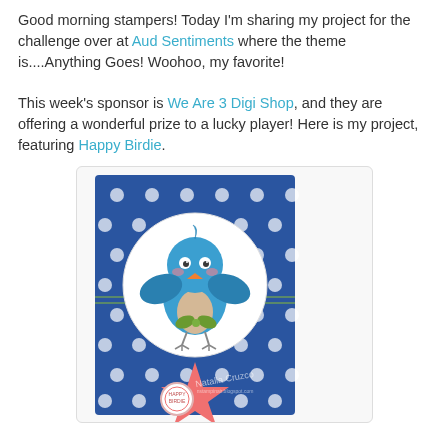Good morning stampers! Today I'm sharing my project for the challenge over at Aud Sentiments where the theme is....Anything Goes! Woohoo, my favorite!
This week's sponsor is We Are 3 Digi Shop, and they are offering a wonderful prize to a lucky player! Here is my project, featuring Happy Birdie.
[Figure (photo): A handmade greeting card featuring a blue bird (Happy Birdie digi stamp) centered on a white circle, placed on blue polka-dot paper. The card has a pink/coral star shape at the bottom, green twine wrapped around it, and a watermark signature. A round badge reads 'Happy Birdie'.]